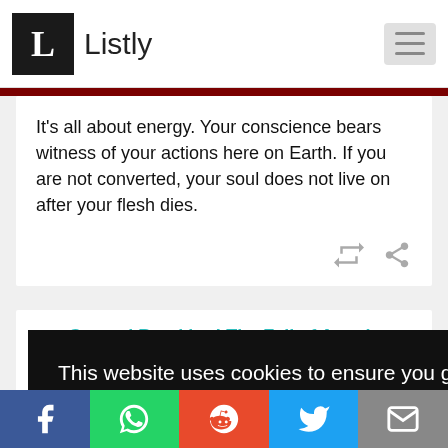Listly
It's all about energy. Your conscience bears witness of your actions here on Earth. If you are not converted, your soul does not live on after your flesh dies.
12  Ground Breaking! The Fall of Angels: Exiled from Heaven - The Proof! | Alternative
This website uses cookies to ensure you get the best experience on our website.
Learn more
Got it!